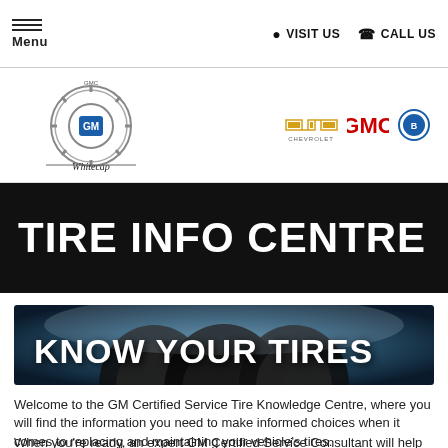Menu  VISIT US  CALL US
[Figure (logo): Whitecap GM dealership logo with gear and script text, alongside Chevrolet, GMC, Buick brand logos]
TIRE INFO CENTRE
[Figure (photo): Dark dramatic image of tires with text overlay 'KNOW YOUR TIRES']
Welcome to the GM Certified Service Tire Knowledge Centre, where you will find the information you need to make informed choices when it comes to replacing and maintaining your vehicle's tires.
When you're ready, an expert GM Certified Service Consultant will help you find the tires that best suit your